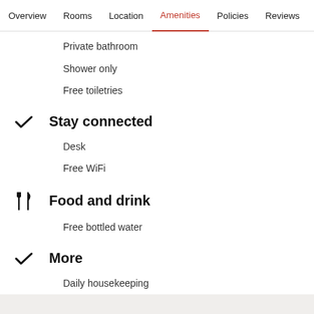Overview  Rooms  Location  Amenities  Policies  Reviews
Private bathroom
Shower only
Free toiletries
Stay connected
Desk
Free WiFi
Food and drink
Free bottled water
More
Daily housekeeping
In-room safe